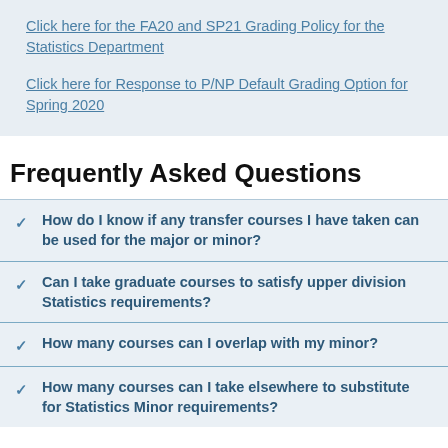Click here for the FA20 and SP21 Grading Policy for the Statistics Department
Click here for Response to P/NP Default Grading Option for Spring 2020
Frequently Asked Questions
How do I know if any transfer courses I have taken can be used for the major or minor?
Can I take graduate courses to satisfy upper division Statistics requirements?
How many courses can I overlap with my minor?
How many courses can I take elsewhere to substitute for Statistics Minor requirements?